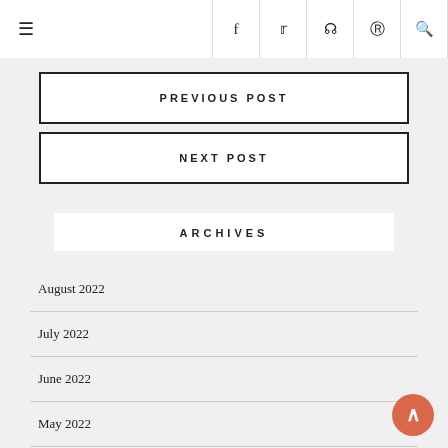≡  f  twitter  instagram  pinterest  search
PREVIOUS POST
NEXT POST
ARCHIVES
August 2022
July 2022
June 2022
May 2022